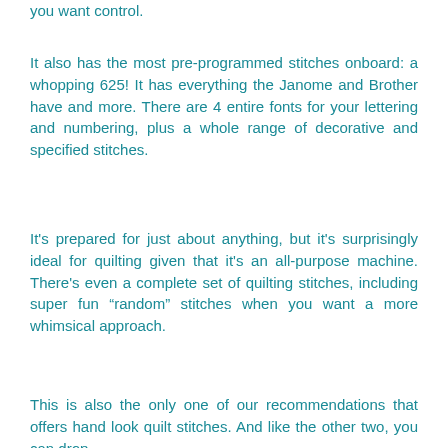you want control.
It also has the most pre-programmed stitches onboard: a whopping 625! It has everything the Janome and Brother have and more. There are 4 entire fonts for your lettering and numbering, plus a whole range of decorative and specified stitches.
It's prepared for just about anything, but it's surprisingly ideal for quilting given that it's an all-purpose machine. There's even a complete set of quilting stitches, including super fun “random” stitches when you want a more whimsical approach.
This is also the only one of our recommendations that offers hand look quilt stitches. And like the other two, you can drop